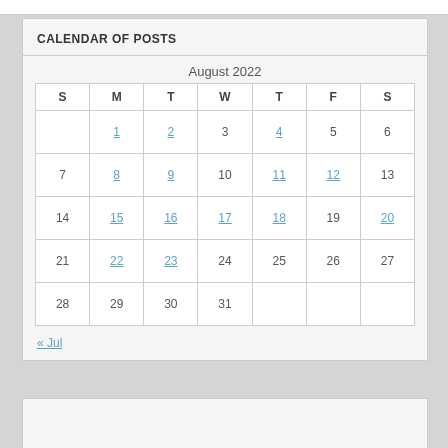CALENDAR OF POSTS
| S | M | T | W | T | F | S |
| --- | --- | --- | --- | --- | --- | --- |
|  | 1 | 2 | 3 | 4 | 5 | 6 |
| 7 | 8 | 9 | 10 | 11 | 12 | 13 |
| 14 | 15 | 16 | 17 | 18 | 19 | 20 |
| 21 | 22 | 23 | 24 | 25 | 26 | 27 |
| 28 | 29 | 30 | 31 |  |  |  |
« Jul